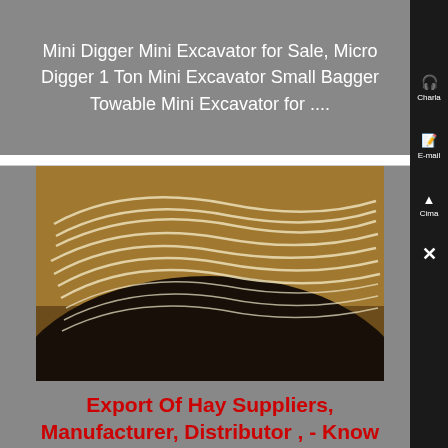Mini Digger Mini Excavator for Sale, Micro Digger 1 Ton Mini Excavator Small Bagger Towable Mini Excavator for ....
[Figure (photo): Close-up photo of hay bale showing white/cream straw fibers curved against a dark background]
Export Of Hay Suppliers, Manufacturer, Distributor , - Know More
Alibaba offers 373 Export Of Hay Suppliers, and Export Of Hay Manufacturers, Distributors, Factories, Compani There are 151 OEM, 118 ODM, 15 Self Patent ,...
[Figure (photo): Photo of large green industrial machinery/crusher in a factory setting]